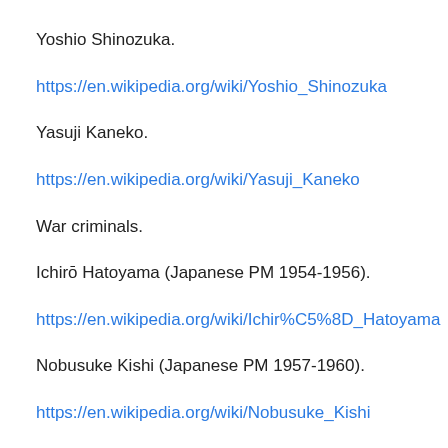Yoshio Shinozuka.
https://en.wikipedia.org/wiki/Yoshio_Shinozuka
Yasuji Kaneko.
https://en.wikipedia.org/wiki/Yasuji_Kaneko
War criminals.
Ichirō Hatoyama (Japanese PM 1954-1956).
https://en.wikipedia.org/wiki/Ichir%C5%8D_Hatoyama
Nobusuke Kishi (Japanese PM 1957-1960).
https://en.wikipedia.org/wiki/Nobusuke_Kishi
Hayato Ikeda (Japanese PM 1960-1964).